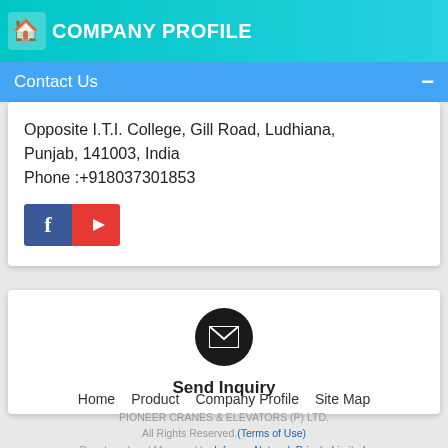COMPANY PROFILE
Contact Us
Opposite I.T.I. College, Gill Road, Ludhiana, Punjab, 141003, India
Phone :+918037301853
[Figure (logo): Facebook and YouTube social media icon buttons]
[Figure (infographic): Send Inquiry button with envelope icon in dark circle]
Send Inquiry
Home   Product   Company Profile   Site Map
PIONEER CRANES & ELEVATORS (P) LTD.
All Rights Reserved.(Terms of Use)
Developed and Managed by Infocom Network Private Limited.
Go to Desktop